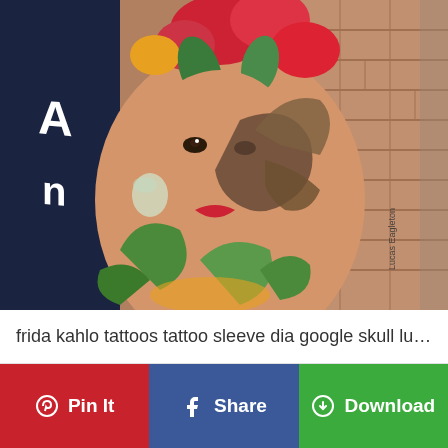[Figure (photo): A colorful tattoo sleeve on a person's arm showing a Frida Kahlo-inspired portrait of a woman with flowers in her hair and a butterfly/skull overlaid on her face, surrounded by green leaves and floral elements. Artist signature 'Lucas Eagleton' is visible. Background shows a dark navy sleeve and brick wall.]
frida kahlo tattoos tattoo sleeve dia google skull lucas l...
Pin It
Share
Download